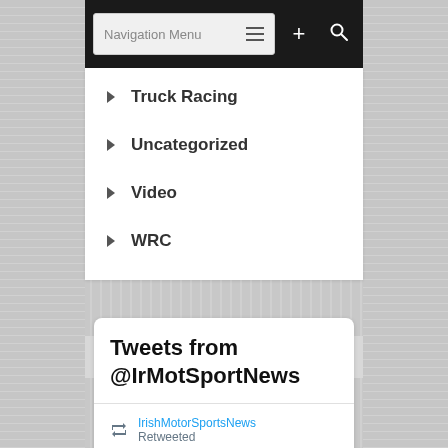[Figure (screenshot): Mobile website navigation menu showing a top black navigation bar with 'Navigation Menu' text input, hamburger icon, plus button, and search icon. Below is a white panel with menu items: Truck Racing, Uncategorized, Video, WRC. Below that is a Twitter embed showing 'Tweets from @IrMotSportNews' with a retweet from IrishMotorSportsNews by Caravan Cruis... @Cara... · Aug 16]